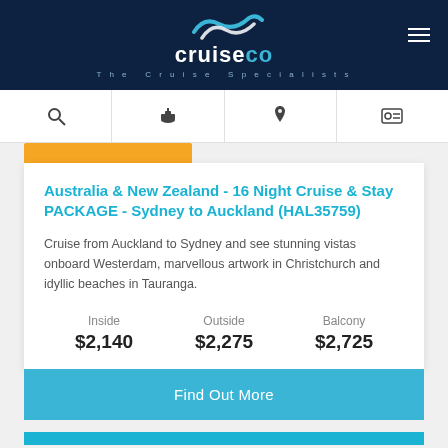CruiseCo - The Cruise Specialists
Australia & New Zealand - 16 Night Cruise & Stay PACKAGE - Sydney to Auckland (HAL35759)
Cruise from Auckland to Sydney and see stunning vistas onboard Westerdam, marvellous artwork in Christchurch and idyllic beaches in Tauranga.
| Inside | Outside | Balcony |
| --- | --- | --- |
| $2,140 | $2,275 | $2,725 |
Find Out More